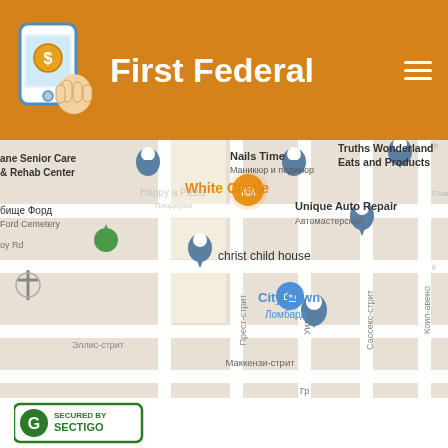First Federal
[Figure (map): Google Maps screenshot showing a street map with locations including Nails Time (Маникюр и педикюр), White Castle, Truths Wonderland Eats and Products, Unique Auto Repair (Автомастерская), christ child house, City Pawn (Ломбард), Jane Senior Care & Rehab Center, бище Форд / Ford Cemetery, street labels in Russian: Прест-стрит, Уитком, Сассекс-стрит, Коил-авено, Маккензи-стрит, Эллис-стрит]
[Figure (logo): Sectigo SSL secured badge — green rounded rectangle with 'G' logo and text 'SECURED BY SECTIGO']